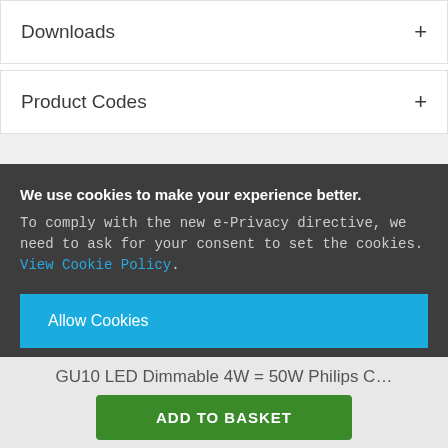Downloads
Product Codes
You might also like...
We use cookies to make your experience better. To comply with the new e-Privacy directive, we need to ask for your consent to set the cookies. View Cookie Policy.
Allow Cookies
GU10 LED Dimmable 4W = 50W Philips C...
ADD TO BASKET